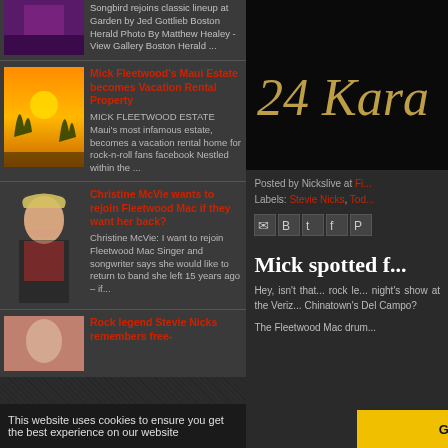[Figure (screenshot): Thumbnail image of a purple concert photo, partially visible at top]
Songbird rejoins classic lineup at Garden by Jed Gottlieb Boston Herald Photo By Matthew Healey - View Gallery Boston Herald ...
[Figure (photo): Thumbnail of Mick Fleetwood's Maui estate with sunset/palm trees]
Mick Fleetwood's Maui Estate becomes Vacation Rental Property
MICK FLEETWOOD ESTATE Maui's most infamous estate, becomes a vacation rental home for rock-n-roll fans facebook Nestled within the ...
[Figure (photo): Thumbnail of Christine McVie, a blonde woman]
Christine McVie wants to rejoin Fleetwood Mac if they want her back?
Christine McVie: I want to rejoin Fleetwood Mac Singer and songwriter says she would like to return to band she left 15 years ago – if...
[Figure (photo): Thumbnail of Stevie Nicks, partially visible]
Rock legend Stevie Nicks remembers free-
[Figure (photo): Right side - 24 Karat gold text on black background]
Posted by Nickslive at Fi...
Labels: Stevie Nicks, Tod...
Mick spotted f...
Hey, isn't that... rock le... night's show at the Veriz... Chinatown's Del Campo?
The Fleetwood Mac drum...
This website uses cookies to ensure you get the best experience on our website
Got it!